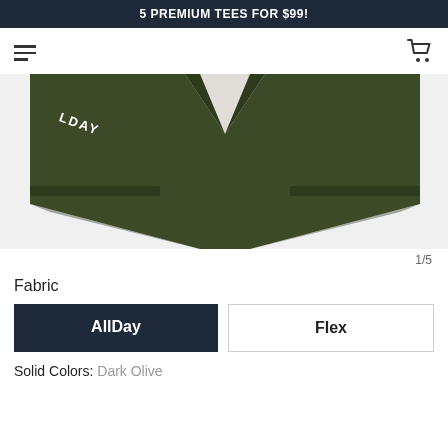5 PREMIUM TEES FOR $99!
[Figure (photo): Close-up photo of a dark olive green t-shirt showing the collar and sleeves area, with 'LDAY' text visible on the left sleeve, displayed from a top-down view on white background.]
1/5
Fabric
AllDay
Flex
Solid Colors: Dark Olive